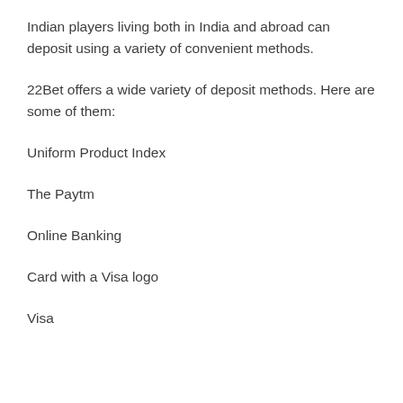Indian players living both in India and abroad can deposit using a variety of convenient methods.
22Bet offers a wide variety of deposit methods. Here are some of them:
Uniform Product Index
The Paytm
Online Banking
Card with a Visa logo
Visa